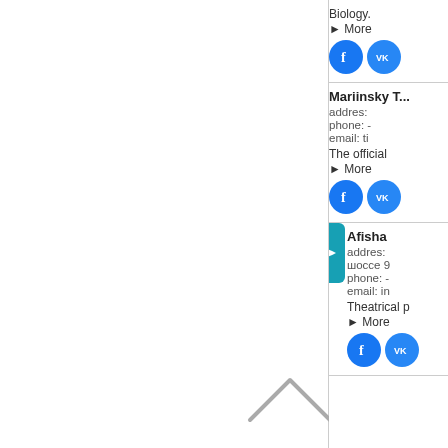Biology.
► More
[Figure (illustration): Facebook and VK social media icons (blue circles)]
Mariinsky T...
addres:
phone: -
email: ti
The official
► More
[Figure (illustration): Facebook and VK social media icons (blue circles)]
Afisha
addres:
шосcе 9
phone: -
email: in
Theatrical p
► More
[Figure (illustration): Facebook and VK social media icons (blue circles)]
[Figure (illustration): Up chevron / caret arrow icon in left panel]